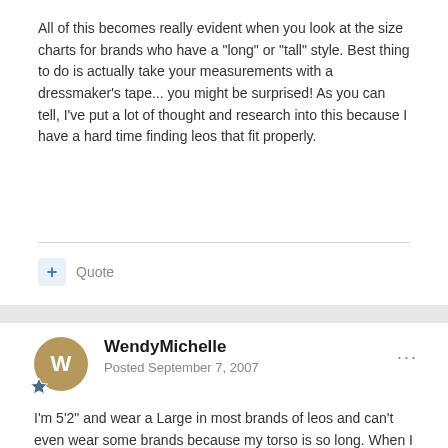All of this becomes really evident when you look at the size charts for brands who have a "long" or "tall" style. Best thing to do is actually take your measurements with a dressmaker's tape... you might be surprised! As you can tell, I've put a lot of thought and research into this because I have a hard time finding leos that fit properly.
Quote
WendyMichelle
Posted September 7, 2007
I'm 5'2" and wear a Large in most brands of leos and can't even wear some brands because my torso is so long. When I was measured for costumes last October my torso was 58"........longer than some of the girls at 5'6" and 5'7".